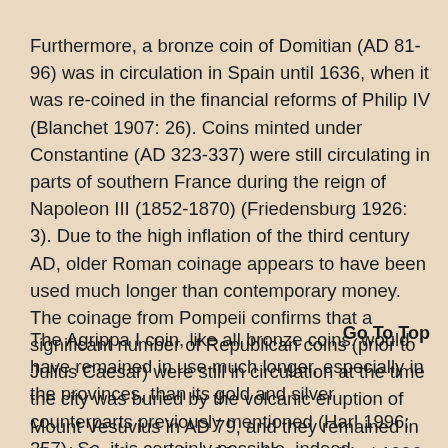Furthermore, a bronze coin of Domitian (AD 81-96) was in circulation in Spain until 1636, when it was re-coined in the financial reforms of Philip IV (Blanchet 1907: 26). Coins minted under Constantine (AD 323-337) were still circulating in parts of southern France during the reign of Napoleon III (1852-1870) (Friedensburg 1926: 3). Due to the high inflation of the third century AD, older Roman coinage appears to have been used much longer than contemporary money. The coinage from Pompeii confirms that a significant number of Republican coins (prior to Julius Caesar) were still in circulation at the time the city was buried by the volcanic eruption of Mount Vesuvius in AD 79, and they remained in circulation for another 30 to 40 years (Harl 1996: 18). This is over 150 years altogether.
Go To Top
The Agrippa I coin, like all bronze coins, would have remained in use much longer, especially in the provinces, than its gold and silver counterparts previously mentioned (Harl 1996: 257). So, it is certainly possible, indeed probable, that the Agrippa I coin had remained in circulation for four centuries. However, it seems to stretch the limits of